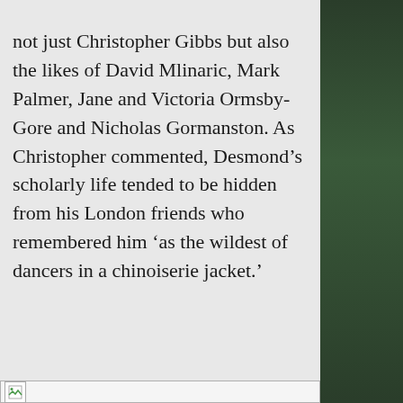not just Christopher Gibbs but also the likes of David Mlinaric, Mark Palmer, Jane and Victoria Ormsby-Gore and Nicholas Gormanston. As Christopher commented, Desmond’s scholarly life tended to be hidden from his London friends who remembered him ‘as the wildest of dancers in a chinoiserie jacket.’
[Figure (photo): A broken/missing image placeholder icon followed by a partially visible outdoor photograph showing dark green foliage on the right side of the page.]